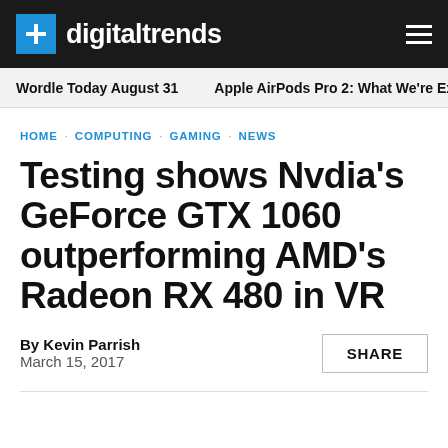digitaltrends
Wordle Today August 31   Apple AirPods Pro 2: What We're Ex
HOME · COMPUTING · GAMING · NEWS
Testing shows Nvdia's GeForce GTX 1060 outperforming AMD's Radeon RX 480 in VR
By Kevin Parrish
March 15, 2017
SHARE